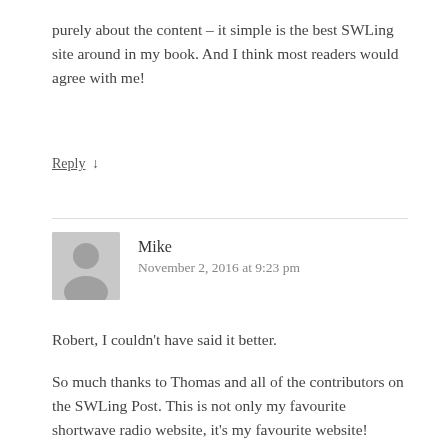purely about the content – it simple is the best SWLing site around in my book. And I think most readers would agree with me!
Reply ↓
Mike
November 2, 2016 at 9:23 pm
Robert, I couldn't have said it better.

So much thanks to Thomas and all of the contributors on the SWLing Post. This is not only my favourite shortwave radio website, it's my favourite website!

My shortwave radio bread and butter!